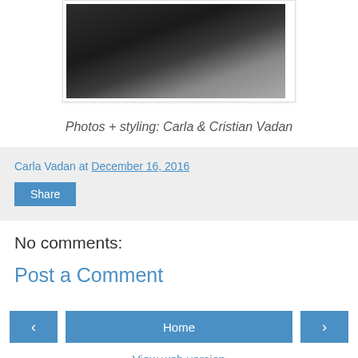[Figure (photo): Partial photo of a person in dark clothing near a railing, with gravel/leaves in background]
Photos + styling: Carla & Cristian Vadan
Carla Vadan at December 16, 2016
Share
No comments:
Post a Comment
< Home > View web version